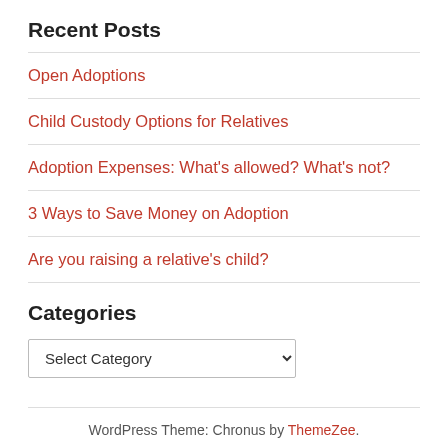Recent Posts
Open Adoptions
Child Custody Options for Relatives
Adoption Expenses: What's allowed? What's not?
3 Ways to Save Money on Adoption
Are you raising a relative's child?
Categories
Select Category
WordPress Theme: Chronus by ThemeZee.